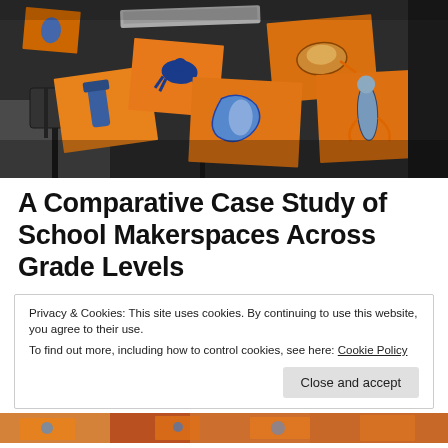[Figure (photo): A school desk/table covered with orange paper drawings of biological or fantastical creatures, viewed from above at an angle. Black table with student artwork spread across it.]
A Comparative Case Study of School Makerspaces Across Grade Levels
Privacy & Cookies: This site uses cookies. By continuing to use this website, you agree to their use.
To find out more, including how to control cookies, see here: Cookie Policy
[Close and accept button]
[Figure (photo): Bottom portion of another photo showing colorful student artwork, partially visible.]